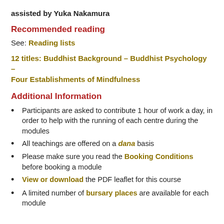assisted by Yuka Nakamura
Recommended reading
See: Reading lists
12 titles: Buddhist Background – Buddhist Psychology – Four Establishments of Mindfulness
Additional Information
Participants are asked to contribute 1 hour of work a day, in order to help with the running of each centre during the modules
All teachings are offered on a dana basis
Please make sure you read the Booking Conditions before booking a module
View or download the PDF leaflet for this course
A limited number of bursary places are available for each module